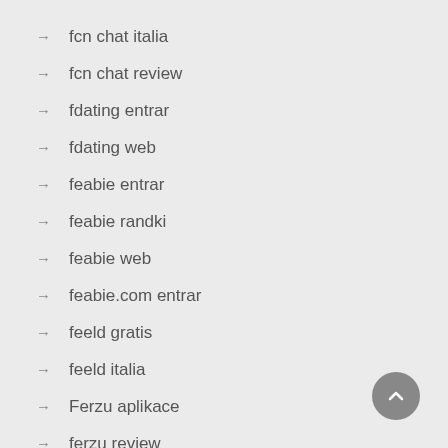→ fcn chat italia
→ fcn chat review
→ fdating entrar
→ fdating web
→ feabie entrar
→ feabie randki
→ feabie web
→ feabie.com entrar
→ feeld gratis
→ feeld italia
→ Ferzu aplikace
→ ferzu review